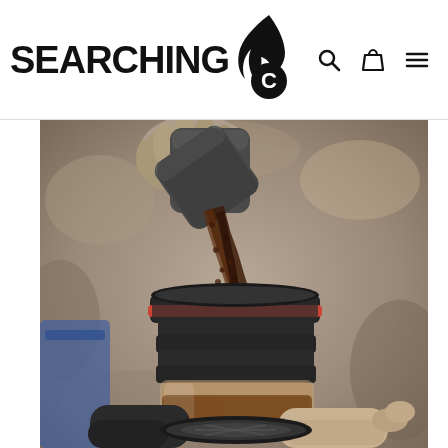[Figure (logo): Searching C brand logo with flame and letter C icon, plus navigation icons (search, cart, menu)]
[Figure (photo): Close-up photo of hands pouring coffee grounds from a small dark container into a portable coffee grinder/brewer device outdoors. The device has a clear bottom chamber with liquid and a black top with a red seal ring.]